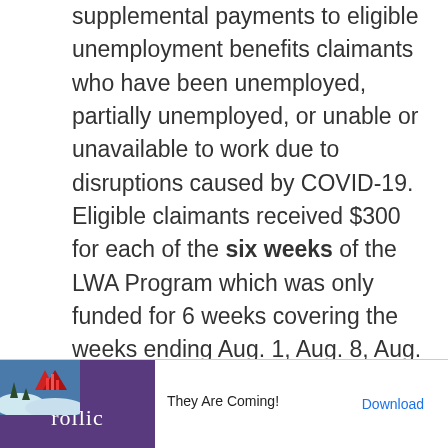supplemental payments to eligible unemployment benefits claimants who have been unemployed, partially unemployed, or unable or unavailable to work due to disruptions caused by COVID-19. Eligible claimants received $300 for each of the six weeks of the LWA Program which was only funded for 6 weeks covering the weeks ending Aug. 1, Aug. 8, Aug. 15, Aug. 22, Aug. 29, and Sept. 5.
[Figure (other): Advertisement banner for Rollic game app with mountain/winter scene graphic. Text reads 'They Are Coming!' with a Download link.]